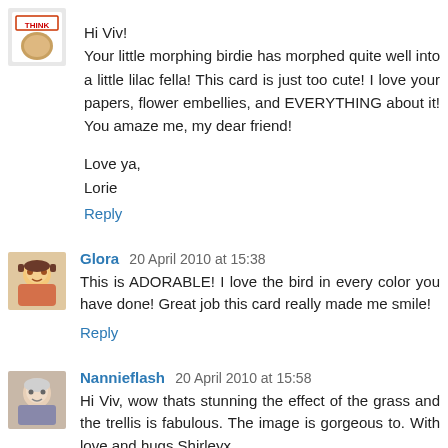[Figure (illustration): Small avatar icon showing a cartoon bear or animal with colorful text, associated with first commenter]
Hi Viv!
Your little morphing birdie has morphed quite well into a little lilac fella! This card is just too cute! I love your papers, flower embellies, and EVERYTHING about it! You amaze me, my dear friend!

Love ya,
Lorie
Reply
[Figure (illustration): Small avatar icon showing a cartoon girl with brown hair]
Glora 20 April 2010 at 15:38
This is ADORABLE! I love the bird in every color you have done! Great job this card really made me smile!
Reply
[Figure (photo): Small avatar photo of an elderly woman]
Nannieflash 20 April 2010 at 15:58
Hi Viv, wow thats stunning the effect of the grass and the trellis is fabulous. The image is gorgeous to. With love and hugs Shirleyx